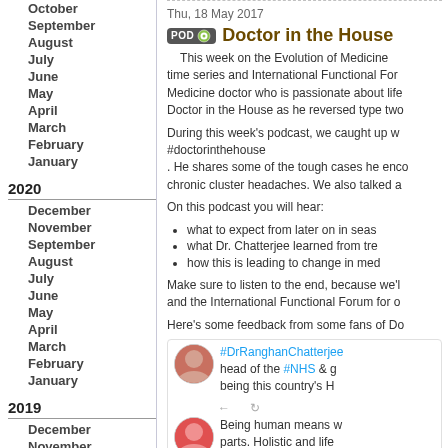October
September
August
July
June
May
April
March
February
January
2020
December
November
September
August
July
June
May
April
March
February
January
2019
December
November
October
September
August
July
June
May
Thu, 18 May 2017
Doctor in the House
This week on the Evolution of Medicine time series and International Functional Forum Medicine doctor who is passionate about life. Doctor in the House as he reversed type two
During this week's podcast, we caught up with #doctorinthehouse . He shares some of the tough cases he encountered with chronic cluster headaches. We also talked a
On this podcast you will hear:
what to expect from later on in seas
what Dr. Chatterjee learned from tre
how this is leading to change in med
Make sure to listen to the end, because we'll and the International Functional Forum for o
Here's some feedback from some fans of Do
#DrRanghanChatterjee head of the #NHS & g being this country's H
Being human means w parts. Holistic and life combined in #doctor